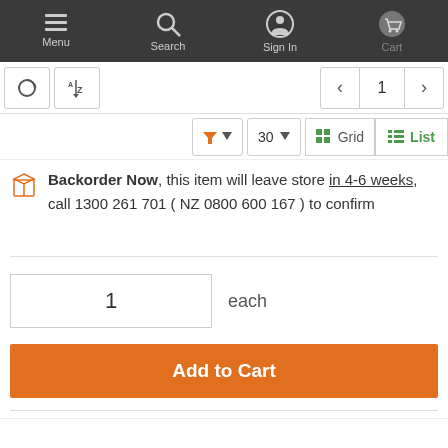Menu | Search | Sign In | Cart
Backorder Now, this item will leave store in 4-6 weeks, call 1300 261 701 ( NZ 0800 600 167 ) to confirm
1 each
Add to Cart